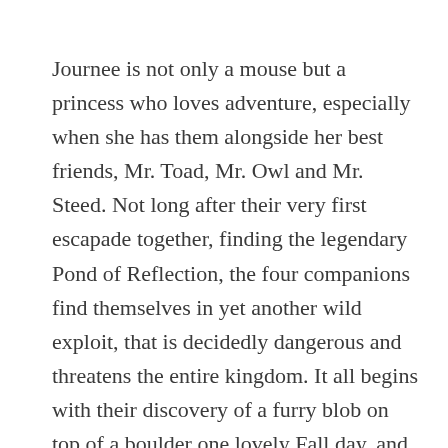Journee is not only a mouse but a princess who loves adventure, especially when she has them alongside her best friends, Mr. Toad, Mr. Owl and Mr. Steed. Not long after their very first escapade together, finding the legendary Pond of Reflection, the four companions find themselves in yet another wild exploit, that is decidedly dangerous and threatens the entire kingdom. It all begins with their discovery of a furry blob on top of a boulder one lovely Fall day, and a message for Journee's father, the great mouse king. It quickly develops into an exciting adventure, with an unlikely plan that just might thwart a mysterious threat gathering in the Great Plains by the sea, north of the High Western Mountain. A plan that will require the help of every kingdom animal great and small, and a very special gift of the rock hyraxes, who live in the crags of the High Western Mountain. For Journee, the